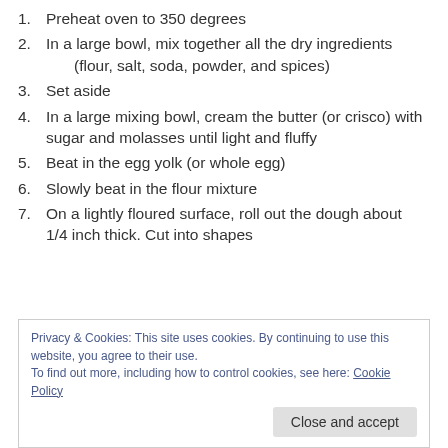1. Preheat oven to 350 degrees
2. In a large bowl, mix together all the dry ingredients (flour, salt, soda, powder, and spices)
3. Set aside
4. In a large mixing bowl, cream the butter (or crisco) with sugar and molasses until light and fluffy
5. Beat in the egg yolk (or whole egg)
6. Slowly beat in the flour mixture
7. On a lightly floured surface, roll out the dough about 1/4 inch thick. Cut into shapes
Privacy & Cookies: This site uses cookies. By continuing to use this website, you agree to their use.
To find out more, including how to control cookies, see here: Cookie Policy